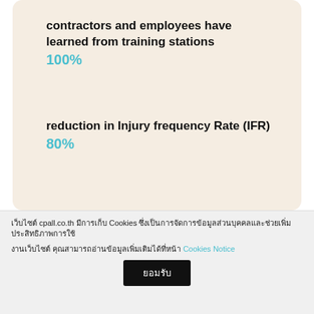contractors and employees have learned from training stations
100%
reduction in Injury frequency Rate (IFR)
80%
OHS oriteria introduoed in proouement and
เว็บไซต์ cpall.co.th มีการเก็บ Cookies ซึ่งเป็นการจัดการข้อมูลส่วนบุคคลและช่วยเพิ่มประสิทธิภาพการใช้
งานเว็บไซต์ คุณสามารถอ่านข้อมูลเพิ่มเติมได้ที่หน้า Cookies Notice
ยอมรับ